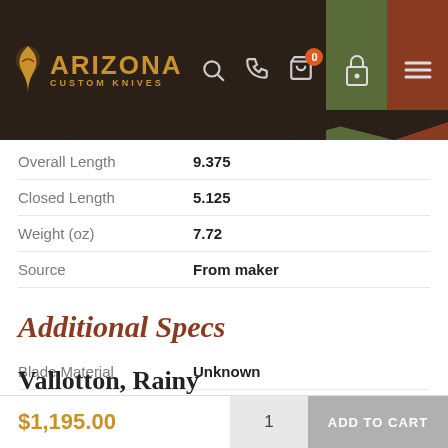[Figure (screenshot): Arizona Custom Knives website header with logo, search, phone, cart (0), lock, and menu icons]
| Attribute | Value |
| --- | --- |
| Overall Length | 9.375 |
| Closed Length | 5.125 |
| Weight (oz) | 7.72 |
| Source | From maker |
Additional Specs
| Attribute | Value |
| --- | --- |
| Blade Material | Unknown |
| Blade Details | Clip Point, Tanto |
| Handle Material | Metallic, G10 |
| Other Details | Tactical |
About the Maker
$1,195.00
Vallotton, Rainy
1  ADD TO CART